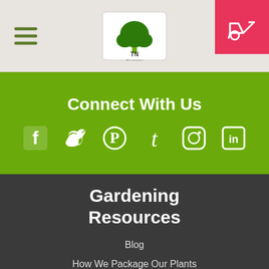[Figure (logo): TN Nursery logo with tree graphic in header]
Connect With Us
[Figure (infographic): Social media icons: Facebook, Twitter, Pinterest, Tumblr, Instagram, LinkedIn, all white on green background]
Gardening Resources
Blog
How We Package Our Plants
We Donate
Planting Instructions
Printable Order Form